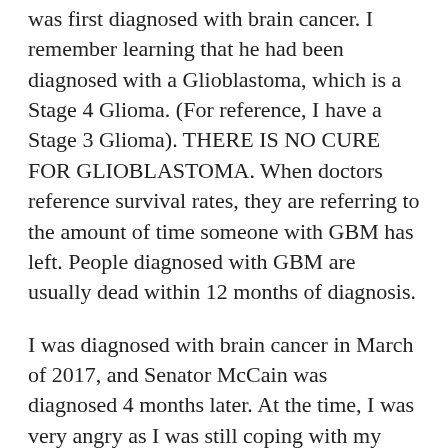was first diagnosed with brain cancer. I remember learning that he had been diagnosed with a Glioblastoma, which is a Stage 4 Glioma. (For reference, I have a Stage 3 Glioma). THERE IS NO CURE FOR GLIOBLASTOMA. When doctors reference survival rates, they are referring to the amount of time someone with GBM has left. People diagnosed with GBM are usually dead within 12 months of diagnosis.
I was diagnosed with brain cancer in March of 2017, and Senator McCain was diagnosed 4 months later. At the time, I was very angry as I was still coping with my own diagnosis. I was getting so mad at people who would tell me “a positive attitude beats cancer! Fight on, warrior!” If it was that easy, I’d put on my boxing gloves while singing songs about sunshine. Unfortunately, that’s not how it works. Don’t tell me about the essential oils that will miraculously cure my cancer, or the special diet I need to go on. It’s maddening. If